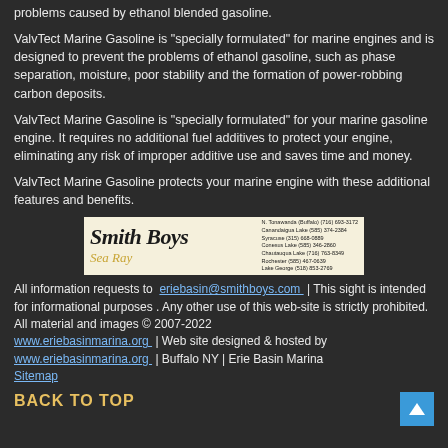problems caused by ethanol blended gasoline.
ValvTect Marine Gasoline is "specially formulated" for marine engines and is designed to prevent the problems of ethanol gasoline, such as phase separation, moisture, poor stability and the formation of power-robbing carbon deposits.
ValvTect Marine Gasoline is "specially formulated" for your marine gasoline engine. It requires no additional fuel additives to protect your engine, eliminating any risk of improper additive use and saves time and money.
ValvTect Marine Gasoline protects your marine engine with these additional features and benefits.
[Figure (logo): Smith Boys Sea Ray logo with store locations and phone numbers listed on the right side]
All information requests to eriebasin@smithboys.com | This sight is intended for informational purposes . Any other use of this web-site is strictly prohibited. All material and images © 2007-2022 www.eriebasinmarina.org | Web site designed & hosted by www.eriebasinmarina.org | Buffalo NY | Erie Basin Marina Sitemap
BACK TO TOP